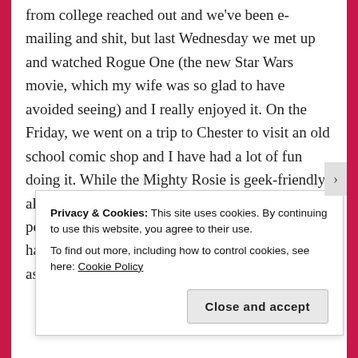from college reached out and we've been e-mailing and shit, but last Wednesday we met up and watched Rogue One (the new Star Wars movie, which my wife was so glad to have avoided seeing) and I really enjoyed it. On the Friday, we went on a trip to Chester to visit an old school comic shop and I have had a lot of fun doing it. While the Mighty Rosie is geek-friendly almost geek-adjacent and while I do have online people who are geeky, it's been a long time since I have had a friend out in the world who is as geeky as me, something we have in
Privacy & Cookies: This site uses cookies. By continuing to use this website, you agree to their use.
To find out more, including how to control cookies, see here: Cookie Policy